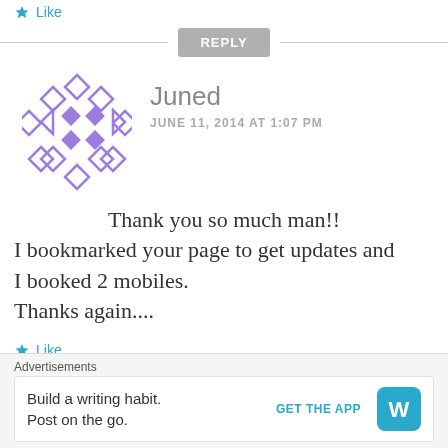Like
REPLY
Juned
JUNE 11, 2014 AT 1:07 PM
Thank you so much man!!
I bookmarked your page to get updates and
I booked 2 mobiles.
Thanks again....
Like
Advertisements
Build a writing habit. Post on the go.
GET THE APP